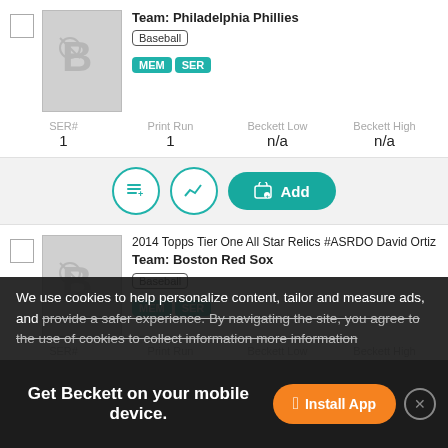Team: Philadelphia Phillies
Baseball
MEM SER
| SER# | Print Run | Beckett Low | Beckett High |
| --- | --- | --- | --- |
| 1 | 1 | n/a | n/a |
2014 Topps Tier One All Star Relics #ASRDO David Ortiz Team: Boston Red Sox
Baseball
MEM SER
| SER# | Print Run | Beckett Low | Beckett High |
| --- | --- | --- | --- |
| 1 | 1 | n/a | n/a |
2014 Topps Tier One All Star Relics #ASRBB ...
We use cookies to help personalize content, tailor and measure ads, and provide a safer experience. By navigating the site, you agree to the use of cookies to collect information more information
Get Beckett on your mobile device.
Install App